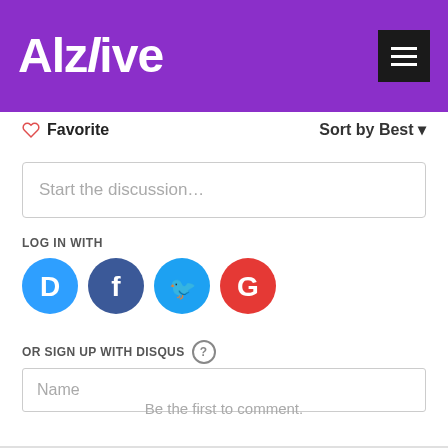Alzlive
Favorite
Sort by Best
Start the discussion…
LOG IN WITH
[Figure (illustration): Social login icons: Disqus (blue speech bubble with D), Facebook (dark blue circle with f), Twitter (cyan circle with bird), Google (red circle with G)]
OR SIGN UP WITH DISQUS ?
Name
Be the first to comment.